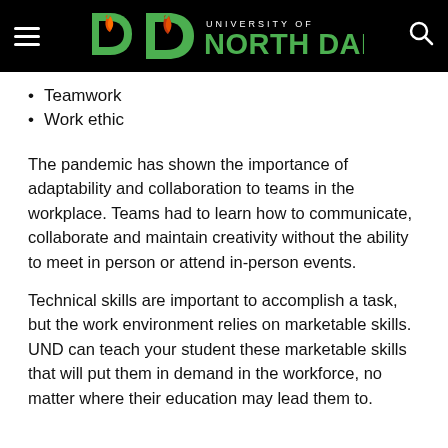University of North Dakota
Teamwork
Work ethic
The pandemic has shown the importance of adaptability and collaboration to teams in the workplace. Teams had to learn how to communicate, collaborate and maintain creativity without the ability to meet in person or attend in-person events.
Technical skills are important to accomplish a task, but the work environment relies on marketable skills. UND can teach your student these marketable skills that will put them in demand in the workforce, no matter where their education may lead them to.